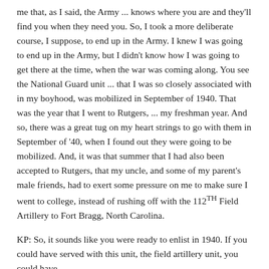me that, as I said, the Army ... knows where you are and they'll find you when they need you. So, I took a more deliberate course, I suppose, to end up in the Army. I knew I was going to end up in the Army, but I didn't know how I was going to get there at the time, when the war was coming along. You see the National Guard unit ... that I was so closely associated with in my boyhood, was mobilized in September of 1940. That was the year that I went to Rutgers, ... my freshman year. And so, there was a great tug on my heart strings to go with them in September of '40, when I found out they were going to be mobilized. And, it was that summer that I had also been accepted to Rutgers, that my uncle, and some of my parent's male friends, had to exert some pressure on me to make sure I went to college, instead of rushing off with the 112TH Field Artillery to Fort Bragg, North Carolina.
KP: So, it sounds like you were ready to enlist in 1940. If you could have served with this unit, the field artillery unit, you could have...